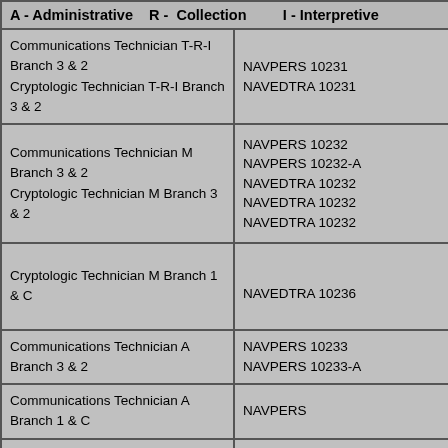| A - Administrative    R - Collection         I - Interpretive |  |
| --- | --- |
| Communications Technician T-R-I Branch 3 & 2
Cryptologic Technician T-R-I Branch 3 & 2 | NAVPERS 10231
NAVEDTRA 10231 |
| Communications Technician M Branch 3 & 2
Cryptologic Technician M Branch 3 & 2 | NAVPERS 10232
NAVPERS 10232-A
NAVEDTRA 10232
NAVEDTRA 10232
NAVEDTRA 10232 |
| Cryptologic Technician M Branch 1 & C | NAVEDTRA 10236 |
| Communications Technician A Branch 3 & 2 | NAVPERS 10233
NAVPERS 10233-A |
| Communications Technician A Branch 1 & C | NAVPERS |
| Communications Technician T Branch  3 & 2 | NAVPERS 10234 |
| Communications Technician O Branch  3 & 2
Cryptologic Technician O Branch  3 & 2 | NAVEDTRA 10235
NAVEDTRA 10235
NAVEDTRA 10235
NAVEDTRA 10235 |
| Cryptologic Technician Training Series
Module 4 - Technical Control | NAVEDTRA A95-0 |